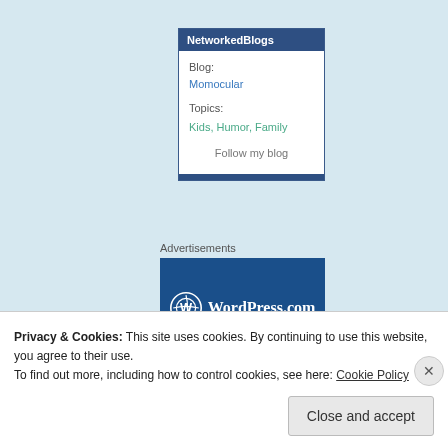[Figure (other): NetworkedBlogs widget showing Blog: Momocular, Topics: Kids, Humor, Family, and a Follow my blog link]
Advertisements
[Figure (logo): WordPress.com logo on dark blue background]
Privacy & Cookies: This site uses cookies. By continuing to use this website, you agree to their use.
To find out more, including how to control cookies, see here: Cookie Policy
Close and accept